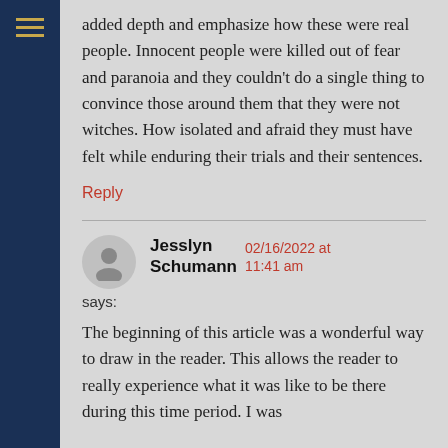added depth and emphasize how these were real people. Innocent people were killed out of fear and paranoia and they couldn't do a single thing to convince those around them that they were not witches. How isolated and afraid they must have felt while enduring their trials and their sentences.
Reply
Jesslyn Schumann says: 02/16/2022 at 11:41 am
The beginning of this article was a wonderful way to draw in the reader. This allows the reader to really experience what it was like to be there during this time period. I was